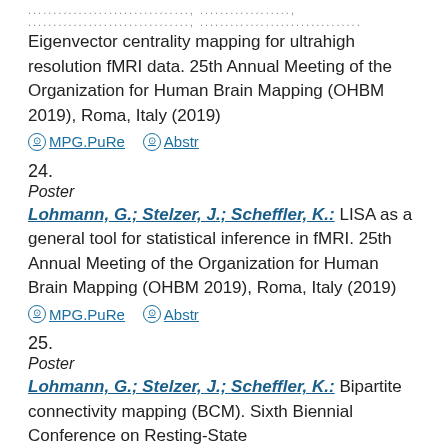Eigenvector centrality mapping for ultrahigh resolution fMRI data. 25th Annual Meeting of the Organization for Human Brain Mapping (OHBM 2019), Roma, Italy (2019)
MPG.PuRe   Abstr
24.
Poster
Lohmann, G.; Stelzer, J.; Scheffler, K.: LISA as a general tool for statistical inference in fMRI. 25th Annual Meeting of the Organization for Human Brain Mapping (OHBM 2019), Roma, Italy (2019)
MPG.PuRe   Abstr
25.
Poster
Lohmann, G.; Stelzer, J.; Scheffler, K.: Bipartite connectivity mapping (BCM). Sixth Biennial Conference on Resting-State